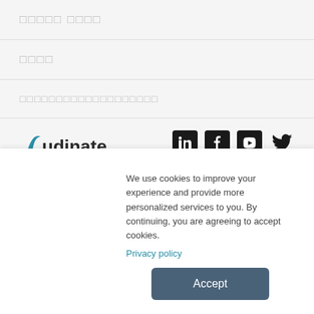□□□□□ □□□□
□□□□
□□□□□□□□□□□□□□□□□□□
[Figure (logo): Audinate logo with social media icons (LinkedIn, Facebook, YouTube, Twitter)]
We use cookies to improve your experience and provide more personalized services to you. By continuing, you are agreeing to accept cookies. Privacy policy
Accept